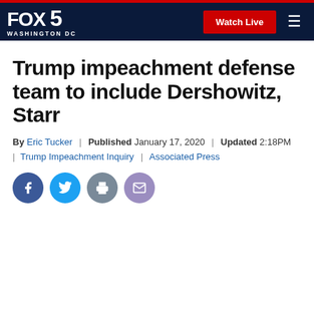FOX 5 WASHINGTON DC | Watch Live
Trump impeachment defense team to include Dershowitz, Starr
By Eric Tucker | Published January 17, 2020 | Updated 2:18PM | Trump Impeachment Inquiry | Associated Press
[Figure (other): Social sharing buttons: Facebook, Twitter, Print, Email]